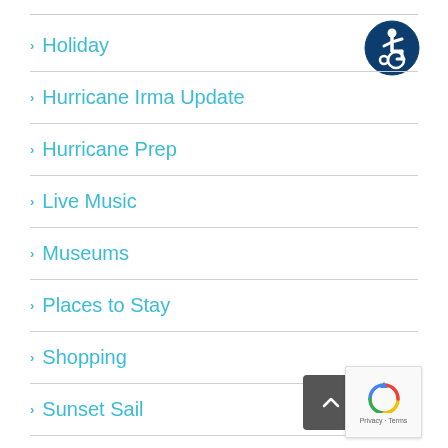[Figure (other): Accessibility icon — blue circle with white wheelchair user symbol]
> Holiday
> Hurricane Irma Update
> Hurricane Prep
> Live Music
> Museums
> Places to Stay
> Shopping
> Sunset Sail
[Figure (other): Back-to-top button — dark grey rounded square with upward chevron arrow]
[Figure (other): Google reCAPTCHA widget box with Privacy and Terms text]